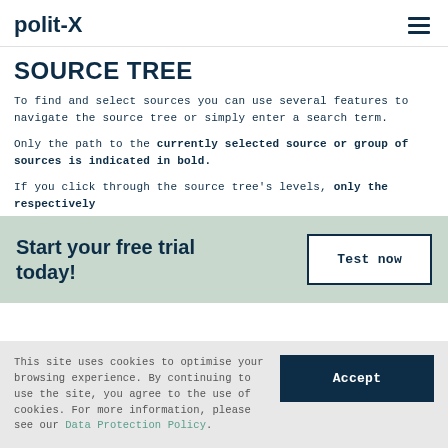polit-X
SOURCE TREE
To find and select sources you can use several features to navigate the source tree or simply enter a search term.
Only the path to the currently selected source or group of sources is indicated in bold.
If you click through the source tree's levels, only the respectively
Start your free trial today!
Test now
This site uses cookies to optimise your browsing experience. By continuing to use the site, you agree to the use of cookies. For more information, please see our Data Protection Policy.
Accept